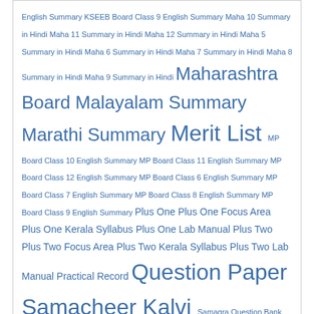English Summary KSEEB Board Class 9 English Summary Maha 10 Summary in Hindi Maha 11 Summary in Hindi Maha 12 Summary in Hindi Maha 5 Summary in Hindi Maha 6 Summary in Hindi Maha 7 Summary in Hindi Maha 8 Summary in Hindi Maha 9 Summary in Hindi Maharashtra Board Malayalam Summary Marathi Summary Merit List MP Board Class 10 English Summary MP Board Class 11 English Summary MP Board Class 12 English Summary MP Board Class 6 English Summary MP Board Class 7 English Summary MP Board Class 8 English Summary MP Board Class 9 English Summary Plus One Plus One Focus Area Plus One Kerala Syllabus Plus One Lab Manual Plus Two Plus Two Focus Area Plus Two Kerala Syllabus Plus Two Lab Manual Practical Record Question Paper Samacheer Kalvi Samagra Question Bank SCERT SSLC Focus Area Study Notes Subjects Tamil Poems Summary The Merchant of Venice Summary Travel Worksheet
Popular Posts
Sheni Blog Class 9 Notes PDF Download - Textbook & Guide
Kerala Syllabus 8th Standard All Notes PDF: Download Class 8 All Notes for Kerala Syllabus
Kerala Syllabus 7th Standard All Notes PDF: Download Class 7 All